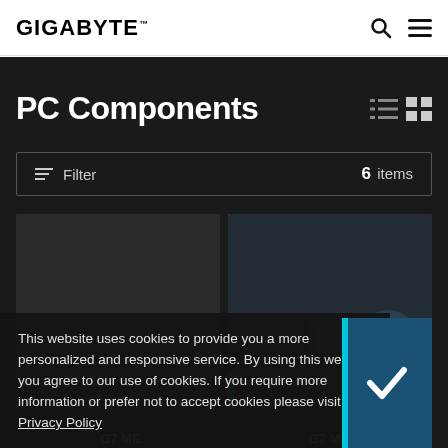GIGABYTE
PC Components
Filter   6 items
[Figure (screenshot): Two product card thumbnails in dark grid layout showing PC components]
This website uses cookies to provide you a more personalized and responsive service. By using this website you agree to our use of cookies. If you require more information or prefer not to accept cookies please visit our Privacy Policy
G7 ME   G7 M4